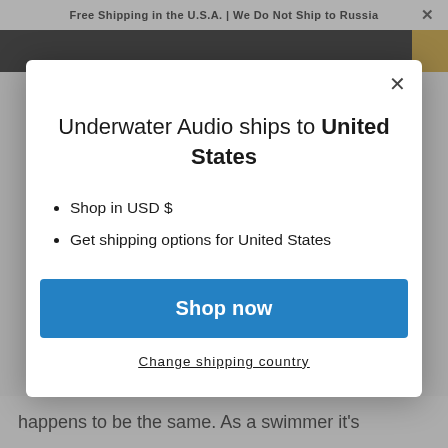Free Shipping in the U.S.A. | We Do Not Ship to Russia
Underwater Audio ships to United States
Shop in USD $
Get shipping options for United States
Shop now
Change shipping country
happens to be the same. As a swimmer it's